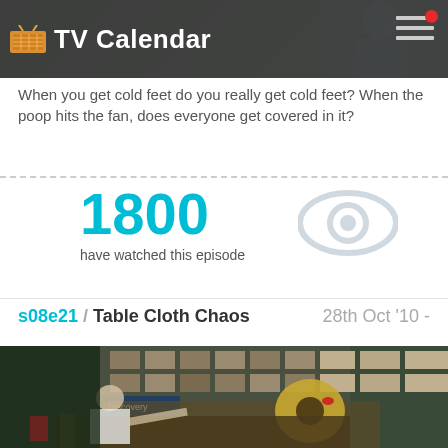TV Calendar
When you get cold feet do you really get cold feet? When the poop hits the fan, does everyone get covered in it?
1800 have watched this episode
s08e21 / Table Cloth Chaos   28th Oct '10 -
[Figure (photo): A person operating a large mechanical device in a warehouse-style workshop with shelving and boxes in the background. Discovery Channel logo visible.]